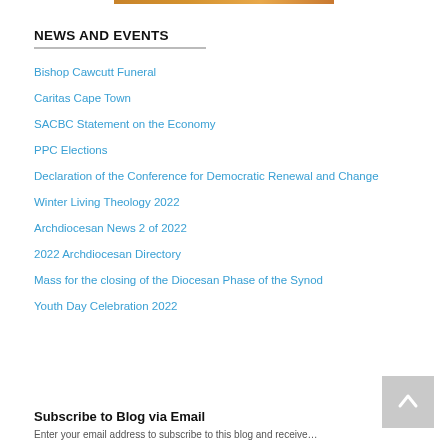[Figure (photo): Partial image strip at top of page, warm orange/brown tones]
NEWS AND EVENTS
Bishop Cawcutt Funeral
Caritas Cape Town
SACBC Statement on the Economy
PPC Elections
Declaration of the Conference for Democratic Renewal and Change
Winter Living Theology 2022
Archdiocesan News 2 of 2022
2022 Archdiocesan Directory
Mass for the closing of the Diocesan Phase of the Synod
Youth Day Celebration 2022
Subscribe to Blog via Email
Enter your email address to subscribe to this blog and receive…